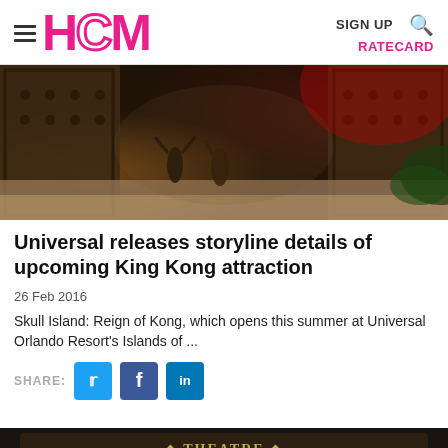HCM | SIGN UP | RATECARD
[Figure (photo): Dark atmospheric scene with figures standing near a large ornate stone gate with red lighting, appears to be a theme park attraction set.]
Universal releases storyline details of upcoming King Kong attraction
26 Feb 2016
Skull Island: Reign of Kong, which opens this summer at Universal Orlando Resort's Islands of ...
SHARE: [Twitter] [Facebook] [LinkedIn]
[Figure (photo): Theatre marquee sign with ornate design reading 'HOGWARTS IS COMING TO' with decorative bulb lighting border.]